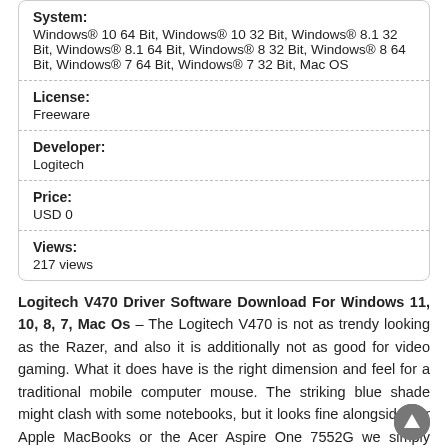System: Windows® 10 64 Bit, Windows® 10 32 Bit, Windows® 8.1 32 Bit, Windows® 8.1 64 Bit, Windows® 8 32 Bit, Windows® 8 64 Bit, Windows® 7 64 Bit, Windows® 7 32 Bit, Mac OS
License: Freeware
Developer: Logitech
Price: USD 0
Views: 217 views
Logitech V470 Driver Software Download For Windows 11, 10, 8, 7, Mac Os – The Logitech V470 is not as trendy looking as the Razer, and also it is additionally not as good for video gaming. What it does have is the right dimension and feel for a traditional mobile computer mouse. The striking blue shade might clash with some notebooks, but it looks fine alongside our Apple MacBooks or the Acer Aspire One 7552G we simply examined. The